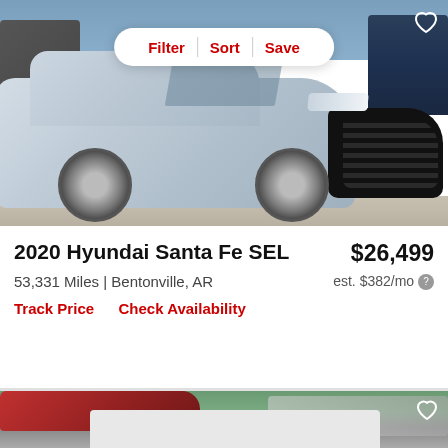[Figure (photo): Silver 2020 Hyundai Santa Fe SUV parked in a lot, front 3/4 view, with filter/sort/save toolbar overlay and heart icon in top right corner]
Filter | Sort | Save
2020 Hyundai Santa Fe SEL
$26,499
53,331 Miles | Bentonville, AR
est. $382/mo
Track Price   Check Availability
[Figure (photo): Partial view of a red SUV in a parking lot, with a gray loading placeholder below, and a heart icon in the top right corner]